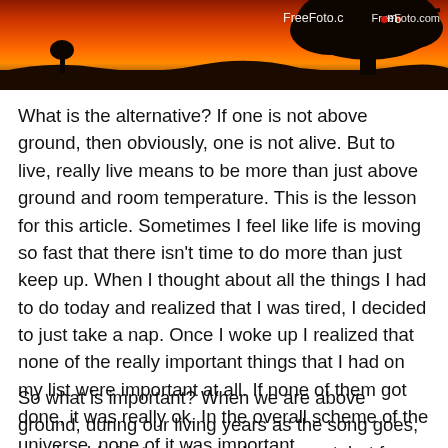[Figure (photo): A dramatic red/orange sunset sky with a large silhouetted tree on the right and flat landscape, with 'FreeFoto.com' watermark in the upper right corner.]
What is the alternative? If one is not above ground, then obviously, one is not alive. But to live, really live means to be more than just above ground and room temperature. This is the lesson for this article. Sometimes I feel like life is moving so fast that there isn't time to do more than just keep up. When I thought about all the things I had to do today and realized that I was tired, I decided to just take a nap. Once I woke up I realized that none of the really important things that I had on my list were important at all. If none of them got done, it was really ok. In the overall scheme of the universe, none of it was important.
So what is important? When we are above ground, during our living years as the song goes, we should aim to make each day count, but for what? What's really important?